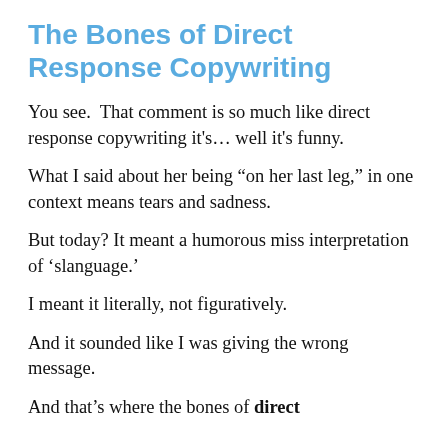The Bones of Direct Response Copywriting
You see.  That comment is so much like direct response copywriting it's... well it's funny.
What I said about her being “on her last leg,” in one context means tears and sadness.
But today? It meant a humorous miss interpretation of ‘slanguage.’
I meant it literally, not figuratively.
And it sounded like I was giving the wrong message.
And that’s where the bones of direct